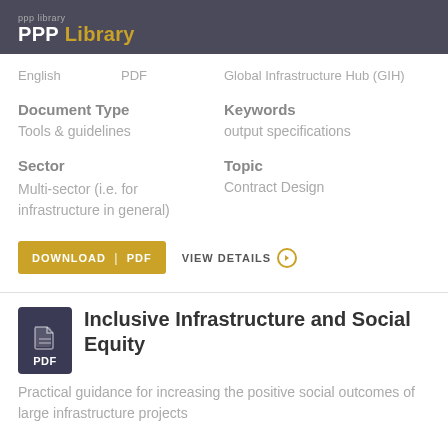PPP Library
English   PDF   Global Infrastructure Hub (GIH)
Document Type
Tools & guidelines
Keywords
output specifications
Sector
Multi-sector (i.e. for infrastructure in general)
Topic
Contract Design
DOWNLOAD | PDF   VIEW DETAILS
Inclusive Infrastructure and Social Equity
Practical guidance for increasing the positive social outcomes of large infrastructure projects